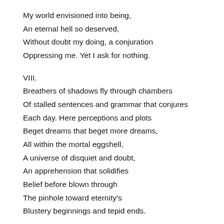My world envisioned into being,
An eternal hell so deserved,
Without doubt my doing, a conjuration
Oppressing me. Yet I ask for nothing.
VIII.
Breathers of shadows fly through chambers
Of stalled sentences and grammar that conjures
Each day. Here perceptions and plots
Beget dreams that beget more dreams,
All within the mortal eggshell,
A universe of disquiet and doubt,
An apprehension that solidifies
Belief before blown through
The pinhole toward eternity's
Blustery beginnings and tepid ends.